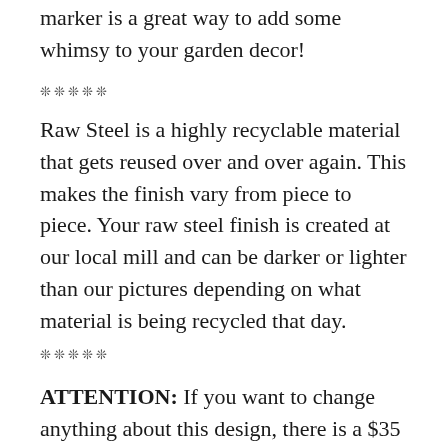marker is a great way to add some whimsy to your garden decor!
❊❊❊❊❊
Raw Steel is a highly recyclable material that gets reused over and over again. This makes the finish vary from piece to piece. Your raw steel finish is created at our local mill and can be darker or lighter than our pictures depending on what material is being recycled that day.
❊❊❊❊❊
ATTENTION: If you want to change anything about this design, there is a $35 design fee (adding images, changing the design, changing the layout, etc.). Please message me before checkout so I can